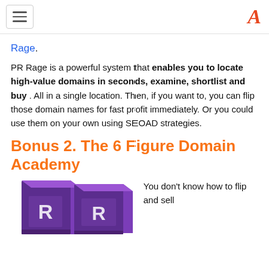[hamburger menu] [logo A]
Rage.
PR Rage is a powerful system that enables you to locate high-value domains in seconds, examine, shortlist and buy . All in a single location. Then, if you want to, you can flip those domain names for fast profit immediately. Or you could use them on your own using SEOAD strategies.
Bonus 2. The 6 Figure Domain Academy
[Figure (photo): Two purple product boxes with letter R on front, side by side]
You don't know how to flip and sell